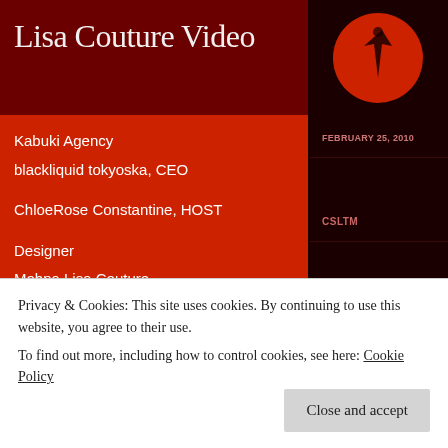Lisa Couture Video
[Figure (logo): Red circle with a dark lightning bolt / cursor arrow icon on dark brown background]
Kabuki Agency
blackliquid tokyoska, CEO

ChloeRose Constantine, HOST

Designer
Mohna Lisa Couture
Mohna Lisa, Owner

Models
AcidRain Alex
Katherine Comet
ChloeRose Constantine
ChristanDavid1 Destiny
FEBRUARY 25, 2010
CSLTM
UNCATEGORIZED
BLACKLIQUID TOKYOSKA, KABUKI
Privacy & Cookies: This site uses cookies. By continuing to use this website, you agree to their use.
To find out more, including how to control cookies, see here: Cookie Policy
Close and accept